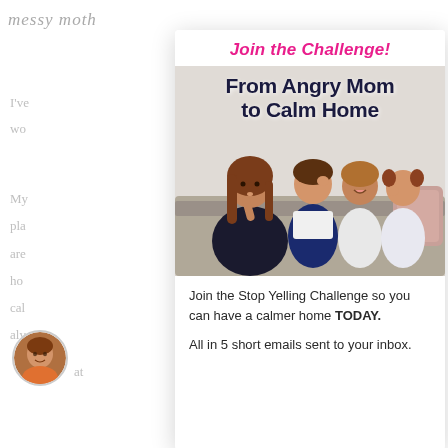[Figure (logo): Messy Moth logo text in italic script, top-left of background page]
I've
wo
My
pla
are
ho
cal
alv
[Figure (photo): Circular avatar photo of a woman with orange top, bottom-left]
[Figure (infographic): Popup card overlay: Join the Challenge! From Angry Mom to Calm Home. Photo of a mother and three children sitting on a couch doing a shushing gesture. Text: Join the Stop Yelling Challenge so you can have a calmer home TODAY. All in 5 short emails sent to your inbox.]
Join the Challenge!
From Angry Mom to Calm Home
Join the Stop Yelling Challenge so you can have a calmer home TODAY.
All in 5 short emails sent to your inbox.